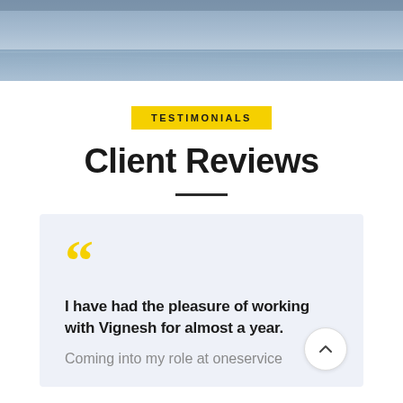[Figure (photo): Blurred blue-grey sky/water horizon banner image at top of page]
TESTIMONIALS
Client Reviews
I have had the pleasure of working with Vignesh for almost a year.
Coming into my role at oneservice